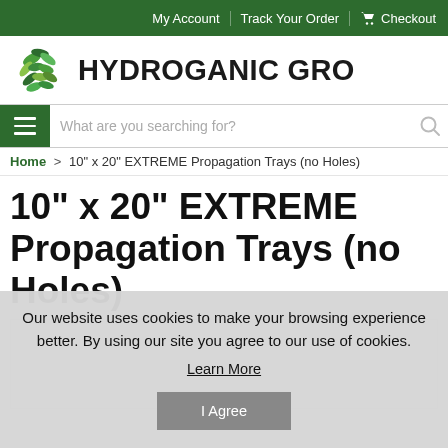My Account | Track Your Order | Checkout
[Figure (logo): Hydroganic Gro logo with green leaf cluster icon and bold text HYDROGANIC GRO]
What are you searching for?
Home > 10" x 20" EXTREME Propagation Trays (no Holes)
10" x 20" EXTREME Propagation Trays (no Holes)
[Figure (photo): Product image placeholder (white box)]
Our website uses cookies to make your browsing experience better. By using our site you agree to our use of cookies.
Learn More
I Agree